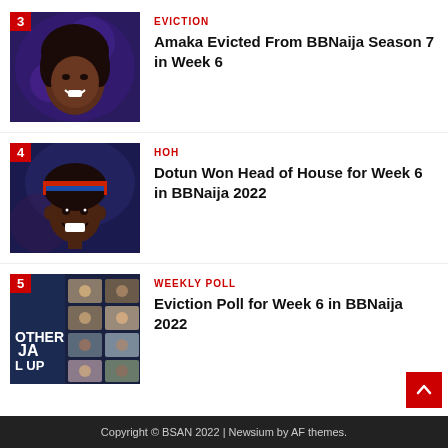[Figure (photo): Thumbnail image of Amaka with red badge number 3, against purple/blue background]
EVICTION
Amaka Evicted From BBNaija Season 7 in Week 6
[Figure (photo): Thumbnail image of Dotun wearing colorful headband with red badge number 4, against blue background]
HOH
Dotun Won Head of House for Week 6 in BBNaija 2022
[Figure (photo): Thumbnail image of BBNaija collage with red badge number 5, showing multiple housemates]
WEEKLY POLL
Eviction Poll for Week 6 in BBNaija 2022
Copyright © BSAN 2022 | Newsium by AF themes.